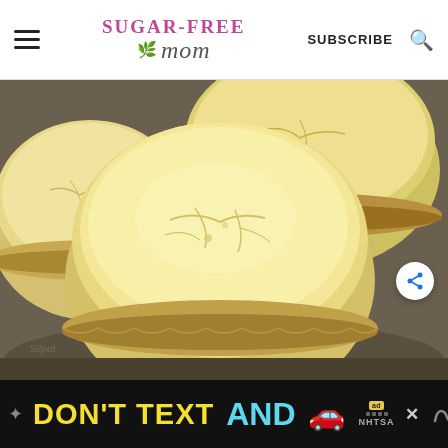Sugar-Free Mom | SUBSCRIBE
[Figure (photo): Close-up photo of golden-yellow baked sugar-free bun/muffin tops in a dark muffin tin, showing several fluffy domed cakes with cracked tops, photographed from above at an angle]
[Figure (infographic): Advertisement banner: dark background with yellow text 'DON'T TEXT' and cyan text 'AND', red car emoji, ad badge, NHTSA logo, close button, and wavy M logo]